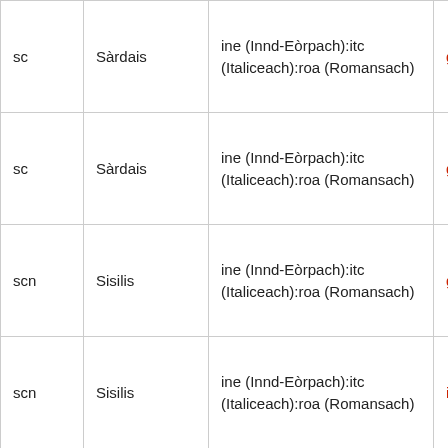| sc | Sàrdais | ine (Innd-Eòrpach):itc (Italiceach):roa (Romansach) | giovia (sc) |
| sc | Sàrdais | ine (Innd-Eòrpach):itc (Italiceach):roa (Romansach) | giòia (sc) |
| scn | Sisilis | ine (Innd-Eòrpach):itc (Italiceach):roa (Romansach) | giuvidì (s) |
| scn | Sisilis | ine (Innd-Eòrpach):itc (Italiceach):roa (Romansach) | iovi (scn) |